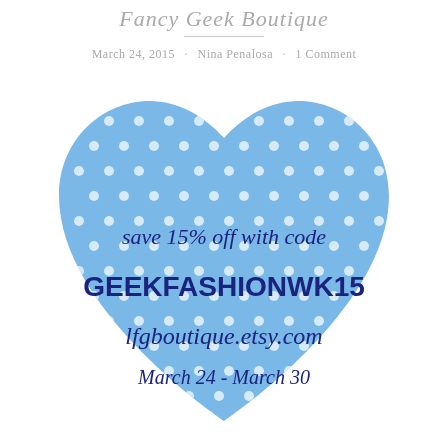Fancy Geek Boutique
March 24, 2015 · Nina Penalosa · 1 Comment
[Figure (illustration): A blue polka-dot heart shape containing promotional text: 'save 15% off with code GEEKFASHIONWK15 lfgboutique.etsy.com March 24 - March 30']